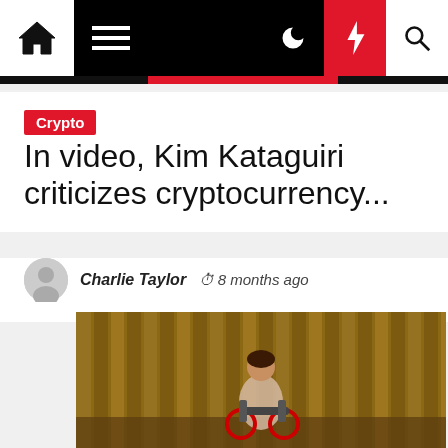Navigation bar with home, menu, dark mode, lightning/quick, and search icons
Crypto
In video, Kim Kataguiri criticizes cryptocurrency...
Charlie Taylor  8 months ago
[Figure (photo): Young girl in a wheelchair on a wooden ramp, smiling, with bamboo fence in background]